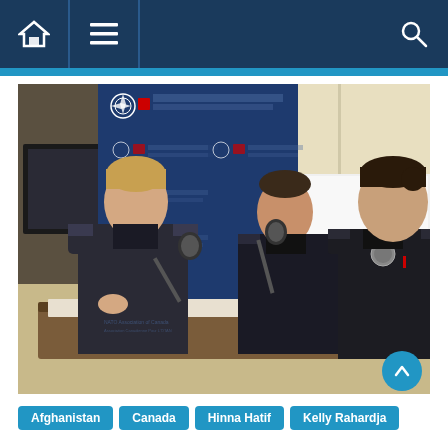[Figure (screenshot): Website navigation bar with dark navy background, home icon on left, hamburger menu icon next to it, and search (magnifying glass) icon on the right, with a bright blue accent bar below]
[Figure (photo): Three women in military/law enforcement uniforms seated at a panel table in front of a NATO Association of Canada backdrop. The leftmost woman is speaking into a microphone, the center woman faces forward with a microphone in front of her, and the rightmost woman in a dark police-style uniform faces slightly left. A red Tim Hortons cup and a glass are on the table.]
Afghanistan
Canada
Hinna Hatif
Kelly Rahardja